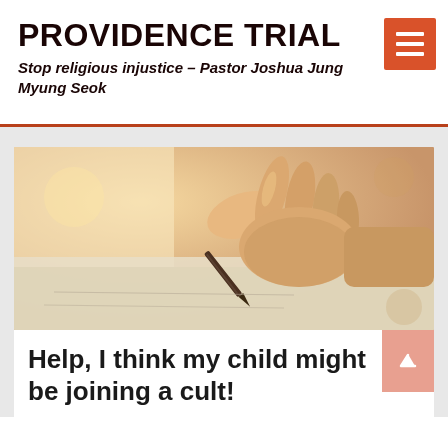PROVIDENCE TRIAL
Stop religious injustice – Pastor Joshua Jung Myung Seok
[Figure (photo): Close-up photo of a hand holding a fountain pen and writing on paper]
Help, I think my child might be joining a cult!